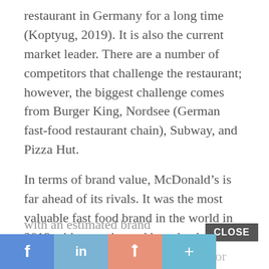restaurant in Germany for a long time (Koptyug, 2019). It is also the current market leader. There are a number of competitors that challenge the restaurant; however, the biggest challenge comes from Burger King, Nordsee (German fast-food restaurant chain), Subway, and Pizza Hut.
In terms of brand value, McDonald's is far ahead of its rivals. It was the most valuable fast food brand in the world in 2019 with an estimated brand value of $130.4 billion. The nearest competitor with an estimated brand value of $45.9 billion (Lock, 2019).